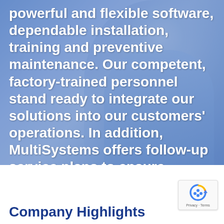[Figure (photo): Blurred photo of a person in a blue shirt, with a blue overlay tint, showing the upper body and head from behind/side angle. Text overlay in white bold font on top of the image.]
powerful and flexible software, dependable installation, training and preventive maintenance. Our competent, factory-trained personnel stand ready to integrate our solutions into our customers' operations. In addition, MultiSystems offers follow-up service plans to ensure mission-critical business processes stay on track.
Company Highlights